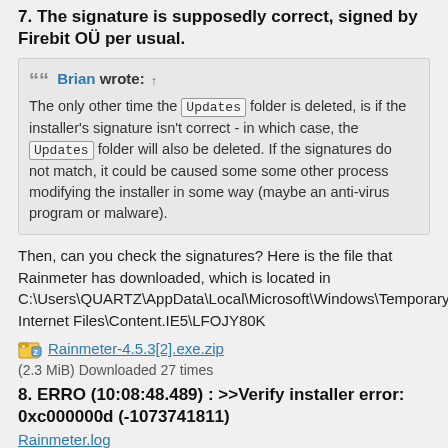7. The signature is supposedly correct, signed by Firebit OÜ per usual.
Brian wrote: ↑ The only other time the Updates folder is deleted, is if the installer's signature isn't correct - in which case, the Updates folder will also be deleted. If the signatures do not match, it could be caused some some other process modifying the installer in some way (maybe an anti-virus program or malware).
Then, can you check the signatures? Here is the file that Rainmeter has downloaded, which is located in C:\Users\QUARTZ\AppData\Local\Microsoft\Windows\Temporary Internet Files\Content.IE5\LFOJY80K
Rainmeter-4.5.3[2].exe.zip
(2.3 MiB) Downloaded 27 times
8. ERRO (10:08:48.489) : >>Verify installer error: 0xc000000d (-1073741811)
Rainmeter.log
(24.06 KiB) Downloaded 27 times